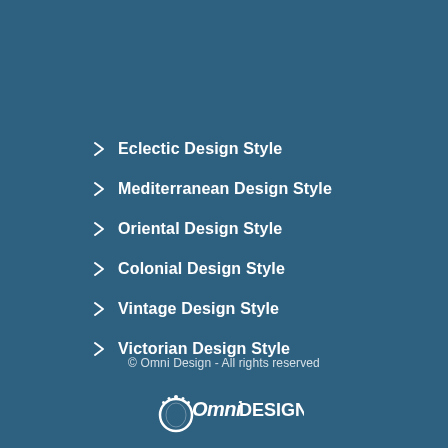Eclectic Design Style
Mediterranean Design Style
Oriental Design Style
Colonial Design Style
Vintage Design Style
Victorian Design Style
© Omni Design - All rights reserved
[Figure (logo): Omni Design logo with circular icon and text 'OmniDESIGN']